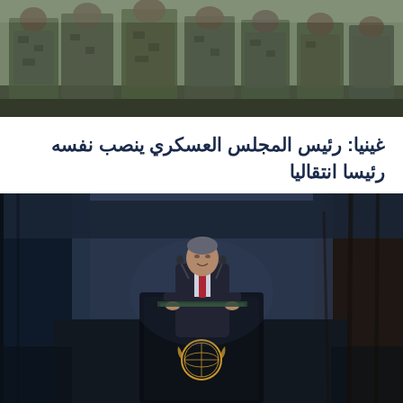[Figure (photo): Top portion of page showing soldiers/military personnel in camouflage uniforms standing together]
غينيا: رئيس المجلس العسكري ينصب نفسه رئيسا انتقاليا
- الجمعة 1 أكتوبر 2021 - 15:45
[Figure (photo): UN Secretary-General speaking at the United Nations General Assembly podium with the UN emblem, wearing a dark suit and red tie]